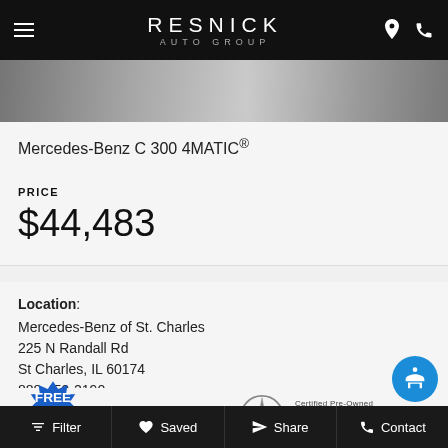RESNICK AUTO GROUP
[Figure (photo): Partial view of a Mercedes-Benz vehicle on a gravel/outdoor background]
Mercedes-Benz C 300 4MATIC®
PRICE
$44,483
Location: Mercedes-Benz of St. Charles
225 N Randall Rd
St Charles, IL 60174
888-459-2190
[Figure (logo): Free CARFAX logo badge]
[Figure (logo): Certified Pre-Owned Mercedes-Benz logo]
Filter   Saved   Share   Contact